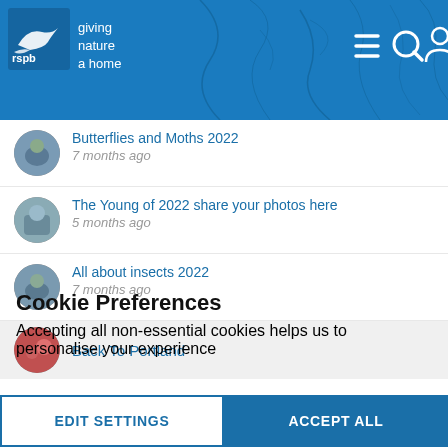[Figure (screenshot): RSPB website header with blue background, textured pattern, RSPB logo with bird and 'giving nature a home' tagline, and navigation icons (menu, search, user)]
Butterflies and Moths 2022
7 months ago
The Young of 2022 share your photos here
5 months ago
All about insects 2022
7 months ago
Back To Portland
Cookie Preferences
Accepting all non-essential cookies helps us to personalise your experience
EDIT SETTINGS | ACCEPT ALL